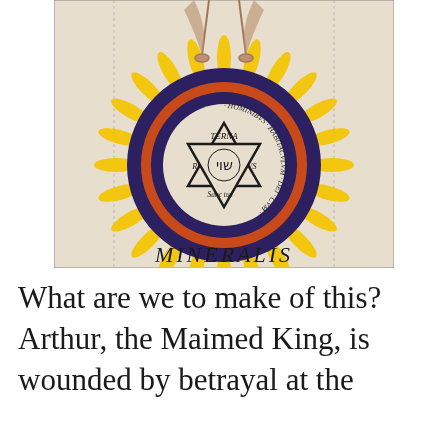[Figure (illustration): An alchemical or mystical illustration showing a robed figure standing above a circle. The circle contains concentric rings in dark blue/indigo and orange/red, with a Star of David (hexagram) in the center containing Hebrew letters. Latin text reads around the inner ring: TERNA, HABITACVLVM, DEI, CVM, HOMINIBVS, and MINERALIS is written below in large letters. Yellow sunburst rays surround the outer circle.]
What are we to make of this? Arthur, the Maimed King, is wounded by betrayal at the